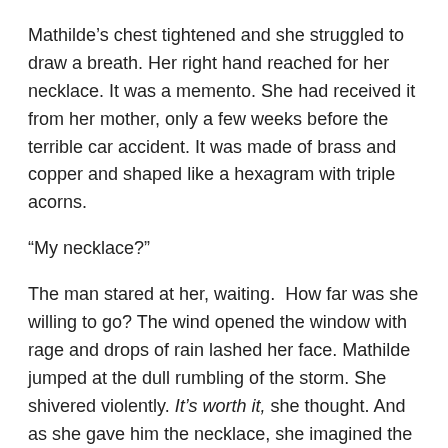Mathilde’s chest tightened and she struggled to draw a breath. Her right hand reached for her necklace. It was a memento. She had received it from her mother, only a few weeks before the terrible car accident. It was made of brass and copper and shaped like a hexagram with triple acorns.
“My necklace?”
The man stared at her, waiting.  How far was she willing to go? The wind opened the window with rage and drops of rain lashed her face. Mathilde jumped at the dull rumbling of the storm. She shivered violently. It’s worth it, she thought. And as she gave him the necklace, she imagined the name-calling that would stop in the hallways. No more ketchup in her book bag.